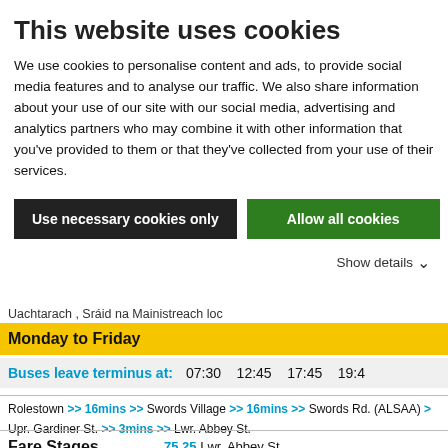This website uses cookies
We use cookies to personalise content and ads, to provide social media features and to analyse our traffic. We also share information about your use of our site with our social media, advertising and analytics partners who may combine it with other information that you've provided to them or that they've collected from your use of their services.
Use necessary cookies only | Allow all cookies
Show details
Uachtarach , Sráid na Mainistreach loc
Monday to Friday
Buses leave terminus at:
07:30  12:45  17:45  19:4
Rolestown >> 16mins >> Swords Village >> 16mins >> Swords Rd. (ALSAA) >> Upr. Gardiner St. >> 3mins >> Lwr. Abbey St.
Fare Stages
75 25 Lwr. Abbey St.
76 24 Mountjoy Sq. / Dorset St. (North
77 23 Dorset St. (North Circular Rd d